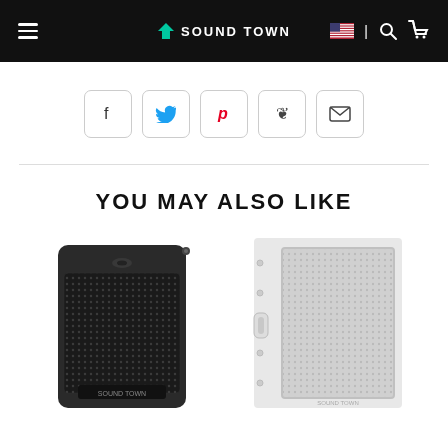SOUND TOWN
[Figure (other): Social sharing buttons: Facebook, Twitter, Pinterest, Fancy, Email]
[Figure (other): Two product speaker images side by side under YOU MAY ALSO LIKE section]
YOU MAY ALSO LIKE